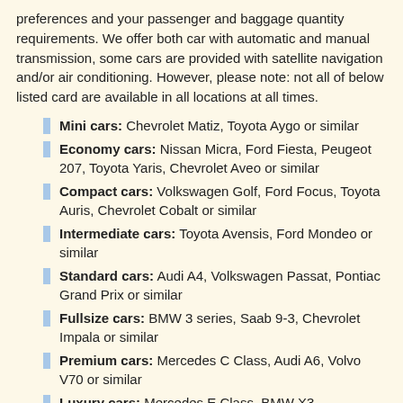preferences and your passenger and baggage quantity requirements. We offer both car with automatic and manual transmission, some cars are provided with satellite navigation and/or air conditioning. However, please note: not all of below listed card are available in all locations at all times.
Mini cars: Chevrolet Matiz, Toyota Aygo or similar
Economy cars: Nissan Micra, Ford Fiesta, Peugeot 207, Toyota Yaris, Chevrolet Aveo or similar
Compact cars: Volkswagen Golf, Ford Focus, Toyota Auris, Chevrolet Cobalt or similar
Intermediate cars: Toyota Avensis, Ford Mondeo or similar
Standard cars: Audi A4, Volkswagen Passat, Pontiac Grand Prix or similar
Fullsize cars: BMW 3 series, Saab 9-3, Chevrolet Impala or similar
Premium cars: Mercedes C Class, Audi A6, Volvo V70 or similar
Luxury cars: Mercedes E Class, BMW X3,